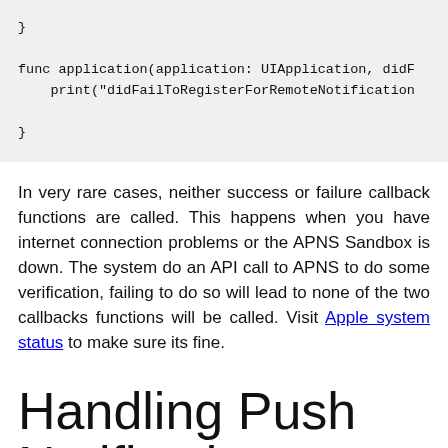[Figure (other): Code block showing Swift function: closing brace, then func application(application: UIApplication, didF... with print("didFailToRegisterForRemoteNotification...) and closing brace]
In very rare cases, neither success or failure callback functions are called. This happens when you have internet connection problems or the APNS Sandbox is down. The system do an API call to APNS to do some verification, failing to do so will lead to none of the two callbacks functions will be called. Visit Apple system status to make sure its fine.
Handling Push Notification